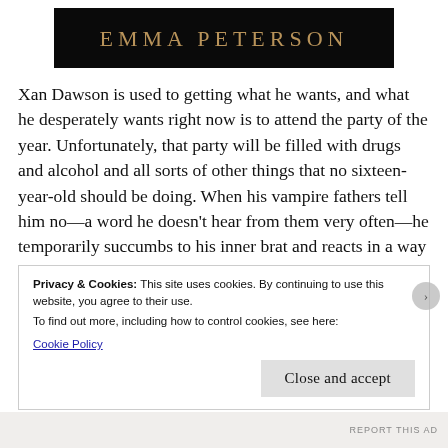[Figure (other): Author name banner: black background with 'EMMA PETERSON' in gold/bronze serif uppercase letters]
Xan Dawson is used to getting what he wants, and what he desperately wants right now is to attend the party of the year. Unfortunately, that party will be filled with drugs and alcohol and all sorts of other things that no sixteen-year-old should be doing. When his vampire fathers tell him no—a word he doesn't hear from them very often—he temporarily succumbs to his inner brat and reacts in a way that he can never take back. The
Privacy & Cookies: This site uses cookies. By continuing to use this website, you agree to their use.
To find out more, including how to control cookies, see here:
Cookie Policy
Close and accept